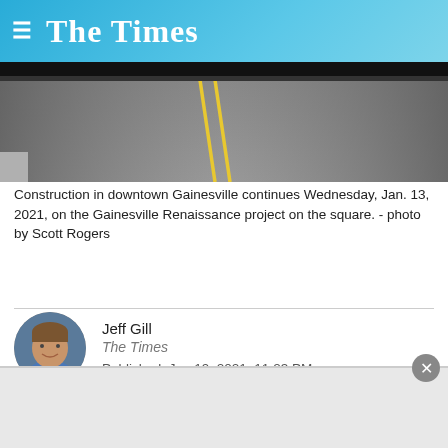The Times
[Figure (photo): Road construction photo showing a paved road with yellow center lines, taken in downtown Gainesville]
Construction in downtown Gainesville continues Wednesday, Jan. 13, 2021, on the Gainesville Renaissance project on the square. - photo by Scott Rogers
Jeff Gill
The Times
Published: Jan 19, 2021, 11:23 PM
Work is moving along on Gainesville Renaissance, a $22.4